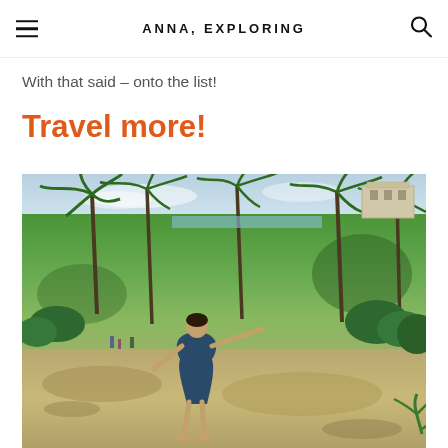ANNA, EXPLORING
With that said – onto the list!
Travel more!
[Figure (photo): Woman in a navy blue dress standing outdoors with arms outstretched in a tropical landscape with palm trees, green grass fields, rocky ground, and a blue sky. A Mayan ruin or stone building is visible in the upper right background.]